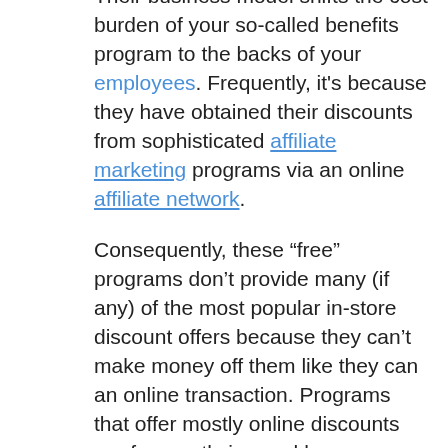Their business model shifts the cost burden of your so-called benefits program to the backs of your employees. Frequently, it's because they have obtained their discounts from sophisticated affiliate marketing programs via an online affiliate network.
Consequently, these “free” programs don’t provide many (if any) of the most popular in-store discount offers because they can’t make money off them like they can an online transaction. Programs that offer mostly online discounts are frequently ignored by employees because they typically lack value.